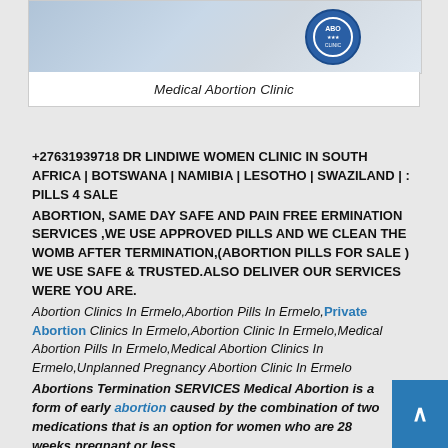[Figure (photo): Medical professionals in a clinic setting with a blue circular logo/badge visible]
Medical Abortion Clinic
+27631939718 DR LINDIWE WOMEN CLINIC IN SOUTH AFRICA | BOTSWANA | NAMIBIA | LESOTHO | SWAZILAND | : PILLS 4 SALE ABORTION, SAME DAY SAFE AND PAIN FREE ERMINATION SERVICES ,WE USE APPROVED PILLS AND WE CLEAN THE WOMB AFTER TERMINATION,(ABORTION PILLS FOR SALE ) WE USE SAFE & TRUSTED.ALSO DELIVER OUR SERVICES WERE YOU ARE.Abortion Clinics In Ermelo,Abortion Pills In Ermelo,Private Abortion Clinics In Ermelo,Abortion Clinic In Ermelo,Medical Abortion Pills In Ermelo,Medical Abortion Clinics In Ermelo,Unplanned Pregnancy Abortion Clinic In Ermelo
Abortions Termination SERVICES Medical Abortion is a form of early abortion caused by the combination of two medications that is an option for women who are 28 weeks pregnant or less. .